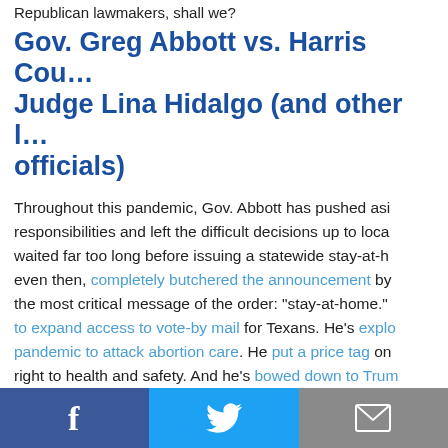Republican lawmakers, shall we?
Gov. Greg Abbott vs. Harris County Judge Lina Hidalgo (and other local officials)
Throughout this pandemic, Gov. Abbott has pushed aside responsibilities and left the difficult decisions up to local officials. He waited far too long before issuing a statewide stay-at-home order, and even then, completely butchered the announcement by not including the most critical message of the order: "stay-at-home." He's refused to expand access to vote-by mail for Texans. He's exploited the pandemic to attack abortion care. He put a price tag on Texans' right to health and safety. And he's bowed down to Trump...